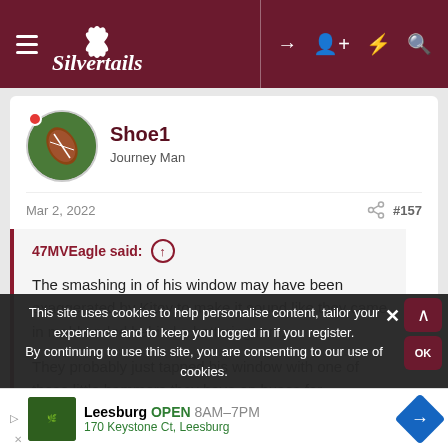Silvertails
Shoe1
Journey Man
Mar 2, 2022  #157
47MVEagle said:
The smashing in of his window may have been exaggerated by Kitey to make it sound like they came in mobhanded behind a battering ram.
They probably just tapped his window with one of those little hammers they have on buses for emergencies, which would
This site uses cookies to help personalise content, tailor your experience and to keep you logged in if you register.
By continuing to use this site, you are consenting to our use of cookies.
Leesburg  OPEN  8AM–7PM
170 Keystone Ct, Leesburg